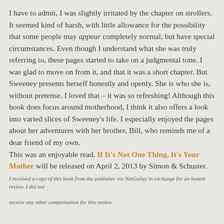I have to admit, I was slightly irritated by the chapter on strollers. It seemed kind of harsh, with little allowance for the possibility that some people may appear completely normal, but have special circumstances. Even though I understand what she was truly referring to, these pages started to take on a judgmental tone. I was glad to move on from it, and that it was a short chapter. But Sweeney presents herself honestly and openly. She is who she is, without pretense. I loved that – it was so refreshing! Although this book does focus around motherhood, I think it also offers a look into varied slices of Sweeney's life. I especially enjoyed the pages about her adventures with her brother, Bill, who reminds me of a dear friend of my own. This was an enjoyable read. If It's Not One Thing, It's Your Mother will be released on April 2, 2013 by Simon & Schuster.
I received a copy of this book from the publisher via NetGalley in exchange for an honest review. I did not receive any other compensation for this review.